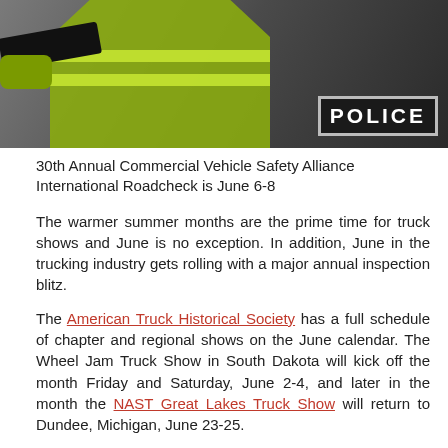[Figure (photo): Police officer in a yellow-green high-visibility vest directing traffic, with a black sleeve and glove visible, and a 'POLICE' badge/text visible on the vest at bottom right.]
30th Annual Commercial Vehicle Safety Alliance International Roadcheck is June 6-8
The warmer summer months are the prime time for truck shows and June is no exception. In addition, June in the trucking industry gets rolling with a major annual inspection blitz.
The American Truck Historical Society has a full schedule of chapter and regional shows on the June calendar. The Wheel Jam Truck Show in South Dakota will kick off the month Friday and Saturday, June 2-4, and later in the month the NAST Great Lakes Truck Show will return to Dundee, Michigan, June 23-25.